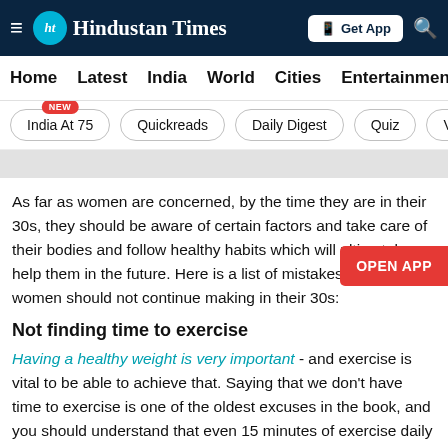≡ HT Hindustan Times | Get App 🔍
Home  Latest  India  World  Cities  Entertainment
India At 75 NEW  Quickreads  Daily Digest  Quiz  V
As far as women are concerned, by the time they are in their 30s, they should be aware of certain factors and take care of their bodies and follow healthy habits which will ultimately help them in the future. Here is a list of mistakes which women should not continue making in their 30s:
Not finding time to exercise
Having a healthy weight is very important - and exercise is vital to be able to achieve that. Saying that we don't have time to exercise is one of the oldest excuses in the book, and you should understand that even 15 minutes of exercise daily goes a long way in achieving fitness levels.